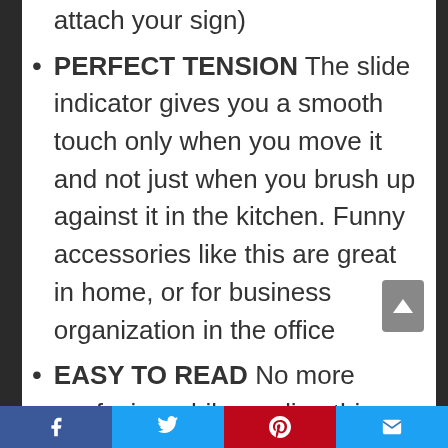attach your sign)
PERFECT TENSION The slide indicator gives you a smooth touch only when you move it and not just when you brush up against it in the kitchen. Funny accessories like this are great in home, or for business organization in the office
EASY TO READ No more confusion while reading this sign in any lighting. Your sign is neither big and bulky nor so small you have to squint, perfect for organizing all kitchens. It is the perfect gift idea for [partially visible]
Facebook Twitter Pinterest Email